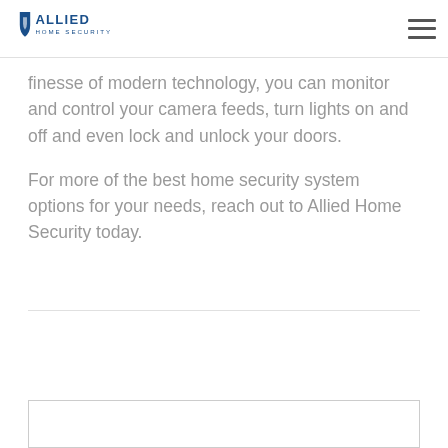Allied Home Security
finesse of modern technology, you can monitor and control your camera feeds, turn lights on and off and even lock and unlock your doors.
For more of the best home security system options for your needs, reach out to Allied Home Security today.